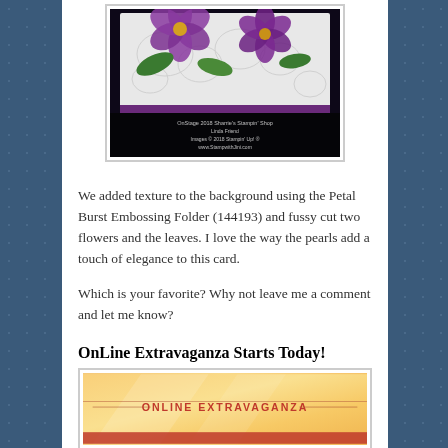[Figure (photo): Photograph of a handmade greeting card with purple flowers (fussy cut) on a white embossed background with a dark/black bottom border. Watermark text visible at the bottom of the image.]
We added texture to the background using the Petal Burst Embossing Folder (144193) and fussy cut two flowers and the leaves. I love the way the pearls add a touch of elegance to this card.
Which is your favorite? Why not leave me a comment and let me know?
OnLine Extravaganza Starts Today!
[Figure (photo): Promotional banner image for an Online Extravaganza sale, warm golden/yellow background with the text ONLINE EXTRAVAGANZA in red letters with decorative lines on either side.]